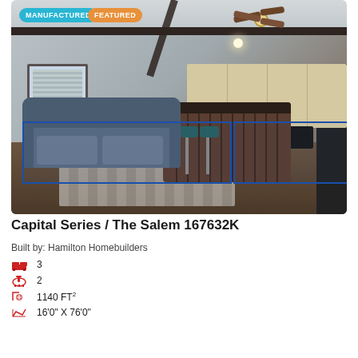[Figure (photo): Interior photo of a manufactured home showing a living room with a grey sectional sofa, dark wood kitchen island with bar stools, light wood cabinets, ceiling fan, dark hardwood floors, and a patterned area rug. Badges read MANUFACTURED and FEATURED.]
Capital Series / The Salem 167632K
Built by: Hamilton Homebuilders
3 (bedrooms)
2 (bathrooms)
1140 FT²
16'0" X 76'0"